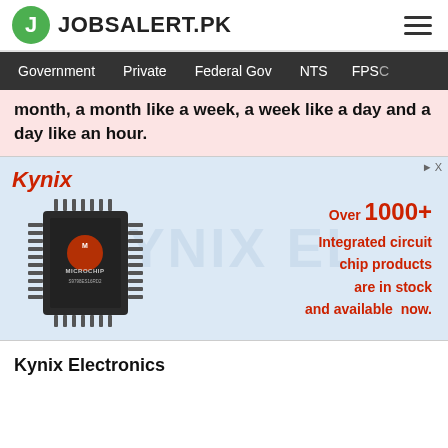JOBSALERT.PK
Government  Private  Federal Gov  NTS  FPSC
month, a month like a week, a week like a day and a day like an hour.
[Figure (infographic): Kynix Electronics advertisement banner with Microchip integrated circuit chip image and text: Over 1000+ Integrated circuit chip products are in stock and available now.]
Kynix Electronics